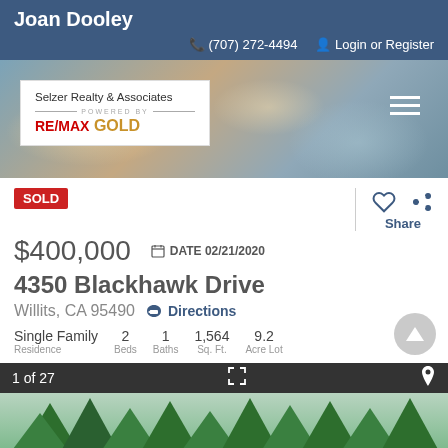Joan Dooley
(707) 272-4494   Login or Register
[Figure (screenshot): Real estate website hero image with sky and clouds background, Selzer Realty & Associates RE/MAX GOLD logo box, and hamburger menu icon]
SOLD
$400,000   DATE 02/21/2020
4350 Blackhawk Drive
Willits, CA 95490  Directions
Single Family Residence   2 Beds   1 Baths   1,564 Sq. Ft.   9.2 Acre Lot
1 of 27
[Figure (photo): Partial view of property photo showing trees and sky]
Joan Dooley